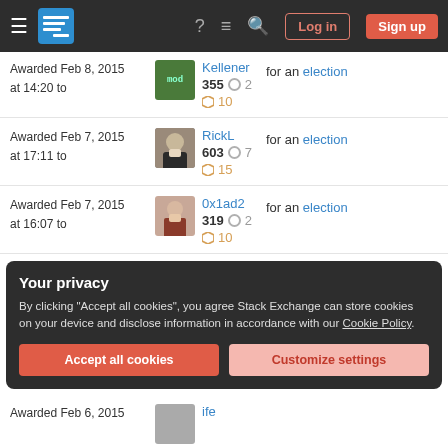Stack Exchange navigation bar with Log in and Sign up buttons
Awarded Feb 8, 2015 at 14:20 to — Kellener 355 ○2 ◇10 — for an election
Awarded Feb 7, 2015 at 17:11 to — RickL 603 ○7 ◇15 — for an election
Awarded Feb 7, 2015 at 16:07 to — 0x1ad2 319 ○2 ◇10 — for an election
Your privacy
By clicking "Accept all cookies", you agree Stack Exchange can store cookies on your device and disclose information in accordance with our Cookie Policy.
Accept all cookies   Customize settings
Awarded Feb 6, 2015 — ife (partial)